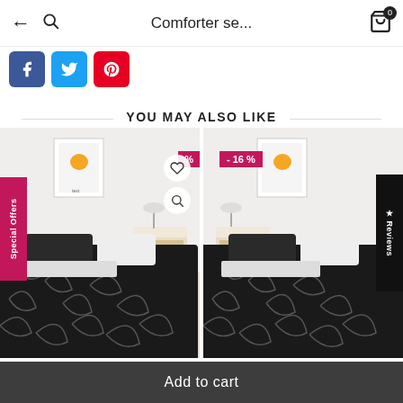← 🔍  Comforter se...  🛍 0
[Figure (screenshot): Social share buttons: Facebook (blue), Twitter (light blue), Pinterest (red)]
YOU MAY ALSO LIKE
[Figure (photo): Left product card: Black feather-pattern comforter set on a bed in a white bedroom. Special Offers ribbon on left side, discount % badge top right, heart wishlist and zoom icons on card.]
[Figure (photo): Right product card: Same black feather-pattern comforter set. -16% discount badge top left, Reviews ribbon on right side.]
Add to cart